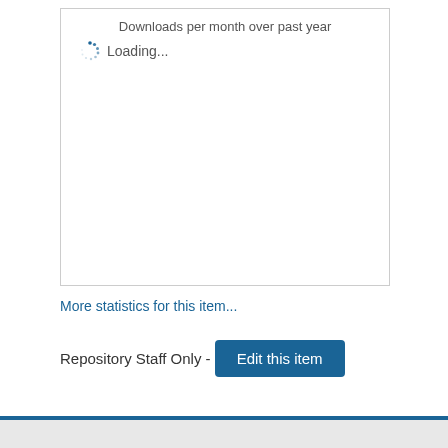[Figure (other): Chart box titled 'Downloads per month over past year' showing a loading spinner with 'Loading...' text. The chart content has not yet loaded.]
More statistics for this item...
Repository Staff Only - Edit this item